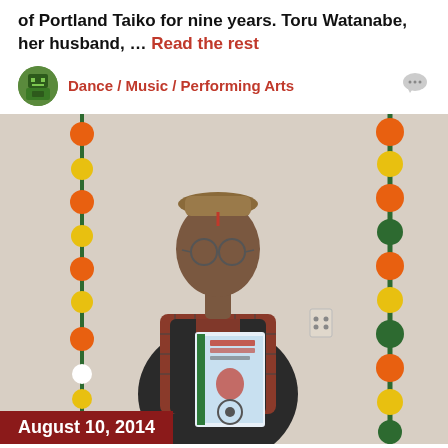of Portland Taiko for nine years. Toru Watanabe, her husband, … Read the rest
Dance / Music / Performing Arts
[Figure (photo): A man wearing a traditional Nepali topi hat, glasses, and a plaid shirt with a dark vest, holding a book with a light blue cover featuring text in Nepali script, flanked by decorative flower garlands in orange, yellow, and green.]
August 10, 2014